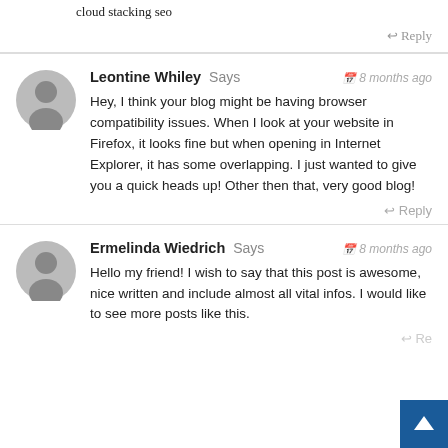cloud stacking seo
↩ Reply
Leontine Whiley Says 8 months ago
Hey, I think your blog might be having browser compatibility issues. When I look at your website in Firefox, it looks fine but when opening in Internet Explorer, it has some overlapping. I just wanted to give you a quick heads up! Other then that, very good blog!
↩ Reply
Ermelinda Wiedrich Says 8 months ago
Hello my friend! I wish to say that this post is awesome, nice written and include almost all vital infos. I would like to see more posts like this.
↩ Re...